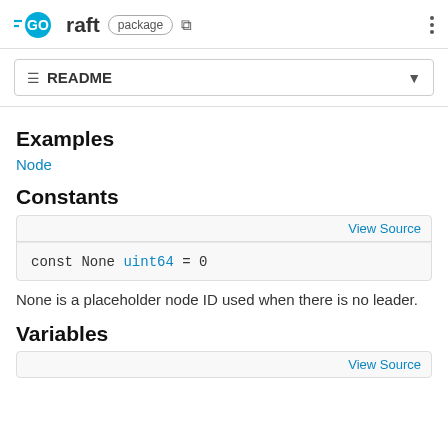GO raft package
README
Examples
Node
Constants
View Source
const None uint64 = 0
None is a placeholder node ID used when there is no leader.
Variables
View Source